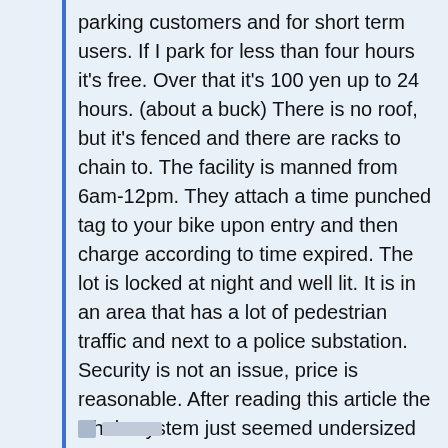parking customers and for short term users. If I park for less than four hours it's free. Over that it's 100 yen up to 24 hours. (about a buck) There is no roof, but it's fenced and there are racks to chain to. The facility is manned from 6am-12pm. They attach a time punched tag to your bike upon entry and then charge according to time expired. The lot is locked at night and well lit. It is in an area that has a lot of pedestrian traffic and next to a police substation. Security is not an issue, price is reasonable. After reading this article the whole system just seemed undersized and overly complicated. Why do we make these systems so clunky and hard to use?